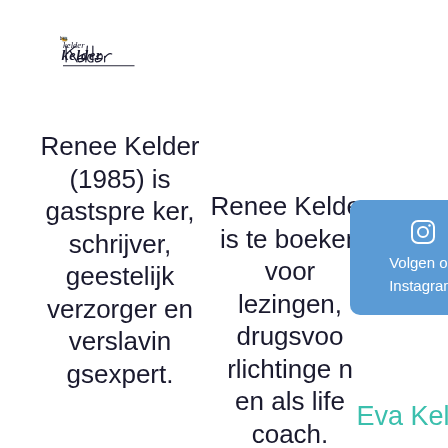[Figure (logo): Handwritten signature logo reading 'Renee Kelder' in cursive script with underline]
Renee Kelder (1985) is gastspreker, schrijver, geestelijk verzorger en verslavingsexpert.
Renee Kelder is te boeken voor lezingen, drugsvoorlichtingen en als life coach.
[Figure (infographic): Blue rounded rectangle button with Instagram icon and text 'Volgen op Instagram']
Eva Kelder